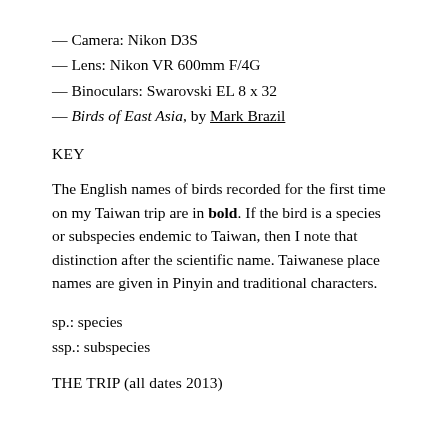— Camera: Nikon D3S
— Lens: Nikon VR 600mm F/4G
— Binoculars: Swarovski EL 8 x 32
— Birds of East Asia, by Mark Brazil
KEY
The English names of birds recorded for the first time on my Taiwan trip are in bold. If the bird is a species or subspecies endemic to Taiwan, then I note that distinction after the scientific name. Taiwanese place names are given in Pinyin and traditional characters.
sp.: species
ssp.: subspecies
THE TRIP (all dates 2013)